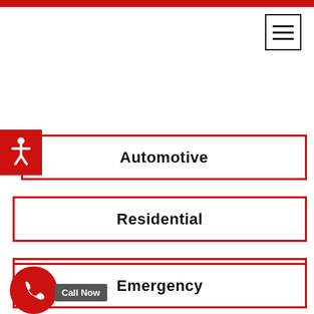[Figure (other): Hamburger menu icon button in top right corner]
[Figure (other): Accessibility icon (wheelchair) in red square, overlapping Automotive menu item]
Automotive
Residential
Commercial
Emergency
[Figure (other): Red circular phone/call button at bottom left with 'Call Now' badge]